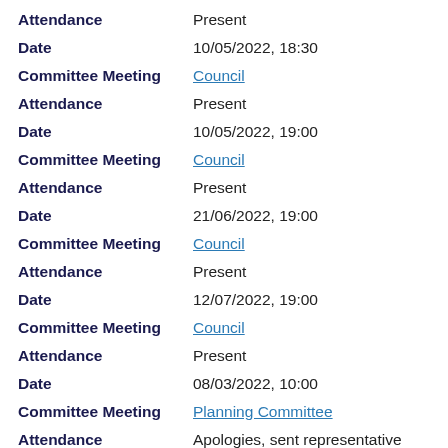Attendance: Present
Date: 10/05/2022, 18:30
Committee Meeting: Council
Attendance: Present
Date: 10/05/2022, 19:00
Committee Meeting: Council
Attendance: Present
Date: 21/06/2022, 19:00
Committee Meeting: Council
Attendance: Present
Date: 12/07/2022, 19:00
Committee Meeting: Council
Attendance: Present
Date: 08/03/2022, 10:00
Committee Meeting: Planning Committee
Attendance: Apologies, sent representative (nis)
Date: 17/03/2022, 10:00